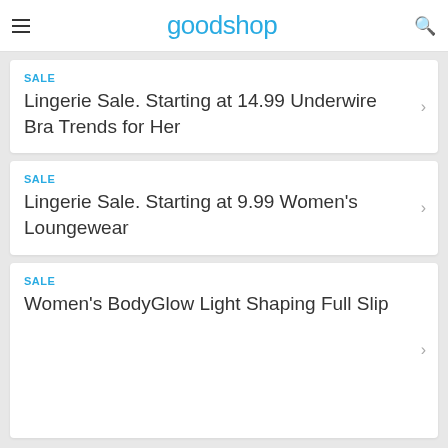goodshop
SALE
Lingerie Sale. Starting at 14.99 Underwire Bra Trends for Her
SALE
Lingerie Sale. Starting at 9.99 Women's Loungewear
SALE
Women's BodyGlow Light Shaping Full Slip